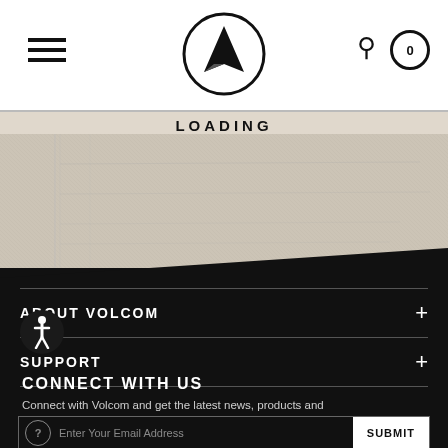[Figure (logo): Volcom logo: black stone/triangle icon inside a circle, centered in the top navigation bar]
LOADING
[Figure (other): Loading state placeholder area with distressed/textured gray background]
ABOUT VOLCOM
SUPPORT
CONNECT WITH US
Connect with Volcom and get the latest news, products and discounts and probably more.
Enter Your Email Address
SUBMIT